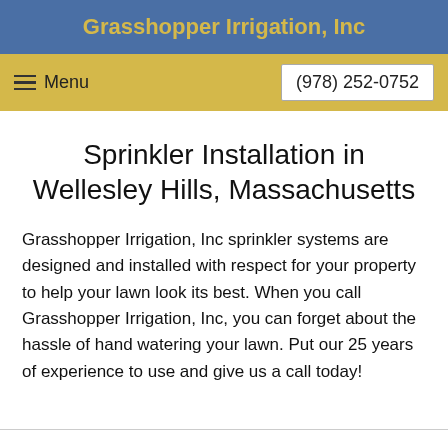Grasshopper Irrigation, Inc
Menu   (978) 252-0752
Sprinkler Installation in Wellesley Hills, Massachusetts
Grasshopper Irrigation, Inc sprinkler systems are designed and installed with respect for your property to help your lawn look its best. When you call Grasshopper Irrigation, Inc, you can forget about the hassle of hand watering your lawn. Put our 25 years of experience to use and give us a call today!